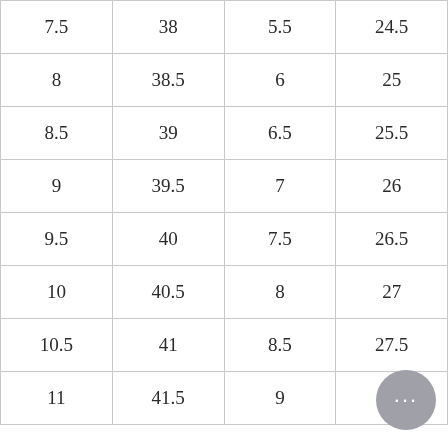| 7.5 | 38 | 5.5 | 24.5 |
| 8 | 38.5 | 6 | 25 |
| 8.5 | 39 | 6.5 | 25.5 |
| 9 | 39.5 | 7 | 26 |
| 9.5 | 40 | 7.5 | 26.5 |
| 10 | 40.5 | 8 | 27 |
| 10.5 | 41 | 8.5 | 27.5 |
| 11 | 41.5 | 9 | 28 |